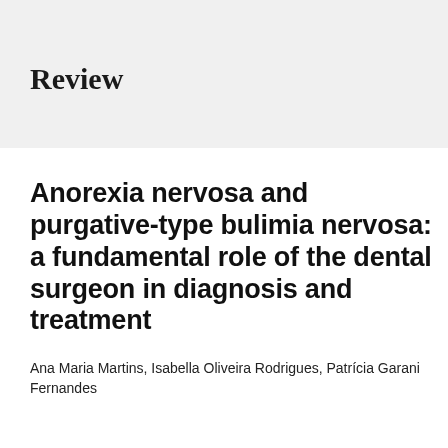Review
Anorexia nervosa and purgative-type bulimia nervosa: a fundamental role of the dental surgeon in diagnosis and treatment
Ana Maria Martins, Isabella Oliveira Rodrigues, Patrícia Garani Fernandes
PDF